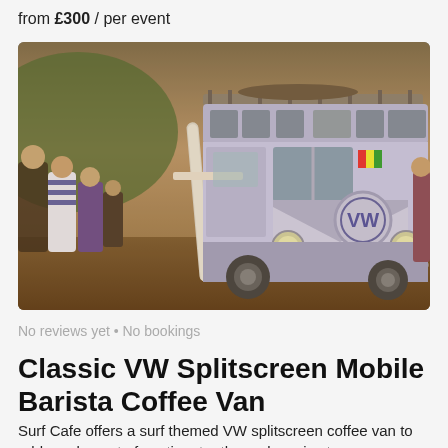from £300 / per event
[Figure (photo): A classic pale blue/white VW Splitscreen camper van converted into a mobile coffee bar, parked at an outdoor event with people standing around it. A surfboard is visible leaning against the side. Warm evening light in the background.]
No reviews yet • No bookings
Classic VW Splitscreen Mobile Barista Coffee Van
Surf Cafe offers a surf themed VW splitscreen coffee van to add an element of exotic retro themed service to your